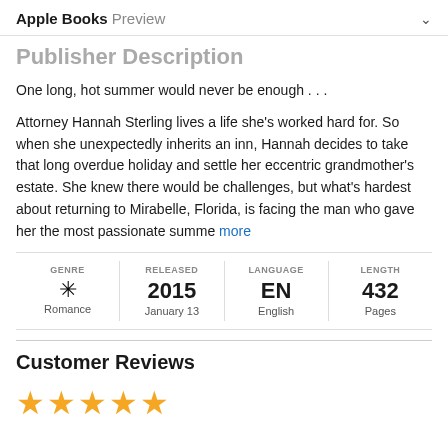Apple Books Preview
Publisher Description
One long, hot summer would never be enough . . .
Attorney Hannah Sterling lives a life she's worked hard for. So when she unexpectedly inherits an inn, Hannah decides to take that long overdue holiday and settle her eccentric grandmother's estate. She knew there would be challenges, but what's hardest about returning to Mirabelle, Florida, is facing the man who gave her the most passionate summe more
| GENRE | RELEASED | LANGUAGE | LENGTH |
| --- | --- | --- | --- |
| Romance | 2015
January 13 | EN
English | 432
Pages |
Customer Reviews
[Figure (other): Five orange/gold star rating icons]